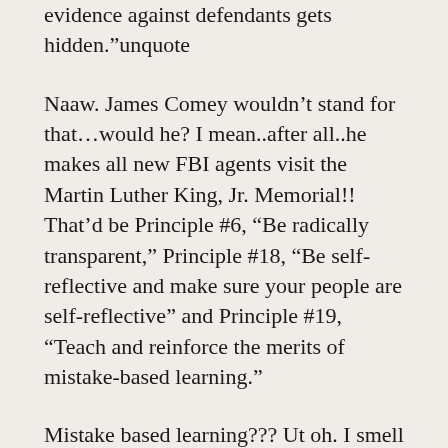evidence against defendants gets hidden.”unquote
Naaw. James Comey wouldn’t stand for that…would he? I mean..after all..he makes all new FBI agents visit the Martin Luther King, Jr. Memorial!! That’d be Principle #6, “Be radically transparent,” Principle #18, “Be self-reflective and make sure your people are self-reflective” and Principle #19, “Teach and reinforce the merits of mistake-based learning.”
Mistake based learning??? Ut oh. I smell a skeleton in James Comey’s closet…
http://narcosphere.narconews.com/notebookconroy/2013/06/fbi-director-candidate-